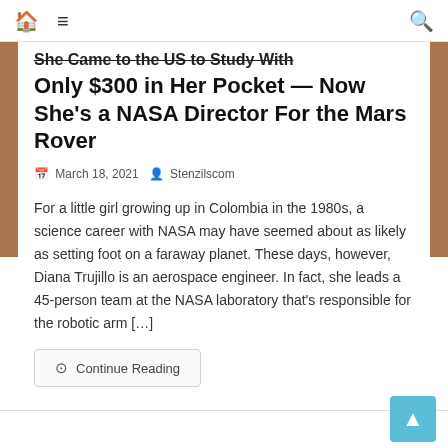🏠 ≡  🔍
She Came to the US to Study With Only $300 in Her Pocket — Now She's a NASA Director For the Mars Rover
March 18, 2021  Stenzilscom
For a little girl growing up in Colombia in the 1980s, a science career with NASA may have seemed about as likely as setting foot on a faraway planet. These days, however, Diana Trujillo is an aerospace engineer. In fact, she leads a 45-person team at the NASA laboratory that's responsible for the robotic arm […]
⊙  Continue Reading